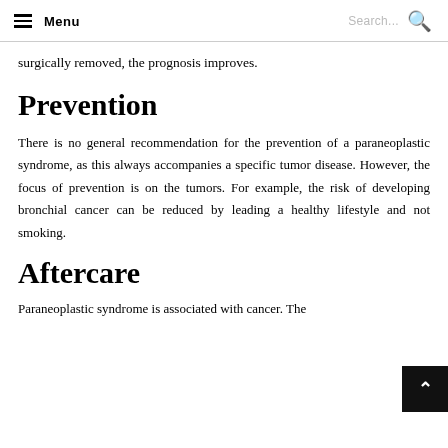Menu | Search...
surgically removed, the prognosis improves.
Prevention
There is no general recommendation for the prevention of a paraneoplastic syndrome, as this always accompanies a specific tumor disease. However, the focus of prevention is on the tumors. For example, the risk of developing bronchial cancer can be reduced by leading a healthy lifestyle and not smoking.
Aftercare
Paraneoplastic syndrome is associated with cancer. The